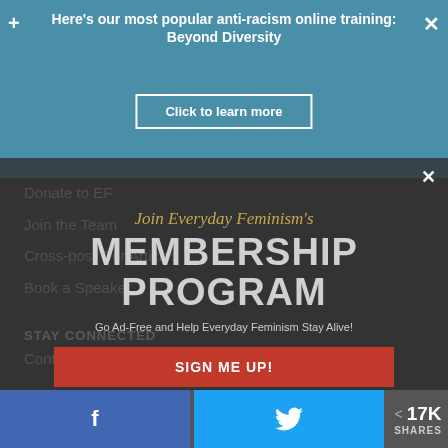Here's our most popular anti-racism online training: Beyond Diversity
Click to learn more
Donate to EF
Join the Team
Cross-post Our Articles
Book a Speaker
[Figure (infographic): Everyday Feminism Membership Program modal overlay with italic script 'Join Everyday Feminism's', bold text 'MEMBERSHIP PROGRAM', subtitle 'Go Ad-Free and Help Everyday Feminism Stay Alive!', and a red SIGN ME UP! button]
STAY CONNECTED
Contact Us
© 2020 Everyday Feminism
< 17K SHARES